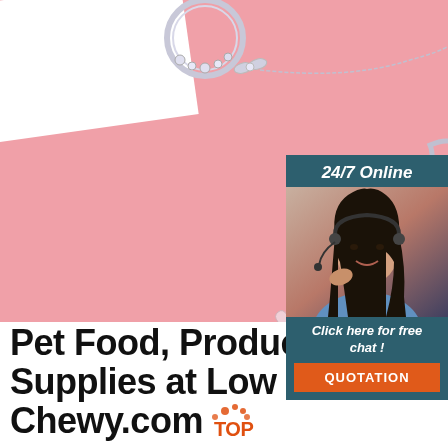[Figure (photo): Pink background with silver jewelry earrings and a white card in the top left corner]
[Figure (infographic): 24/7 Online chat widget with a dark teal background showing a customer service representative with a headset, and a button saying QUOTATION]
Pet Food, Products, Supplies at Low Prices - Chewy.com
Shop Chewy for the best pet supplies ranging from pet food, toys and treats to litter, aquariums, and pet